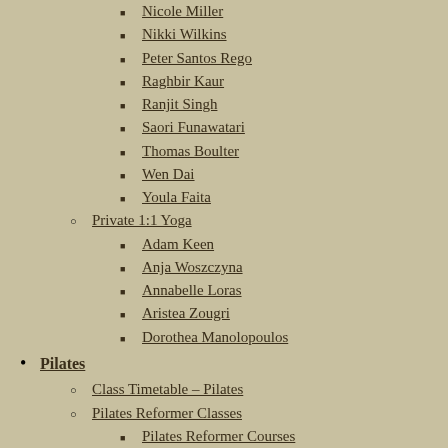Nikki Wilkins
Peter Santos Rego
Raghbir Kaur
Ranjit Singh
Saori Funawatari
Thomas Boulter
Wen Dai
Youla Faita
Private 1:1 Yoga
Adam Keen
Anja Woszczyna
Annabelle Loras
Aristea Zougri
Dorothea Manolopoulos
Pilates
Class Timetable – Pilates
Pilates Reformer Classes
Pilates Reformer Courses
Class Descriptions and Levels
Reformer Price List
1:1 Pilates Equipment Studio
Pilates Beginner Courses
Price List
Pilates Teachers
Amy Brogan